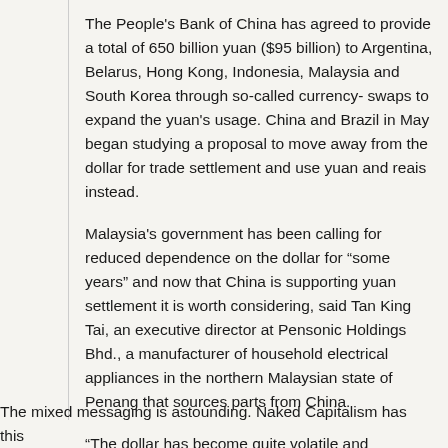The People's Bank of China has agreed to provide a total of 650 billion yuan ($95 billion) to Argentina, Belarus, Hong Kong, Indonesia, Malaysia and South Korea through so-called currency- swaps to expand the yuan's usage. China and Brazil in May began studying a proposal to move away from the dollar for trade settlement and use yuan and reais instead.
Malaysia's government has been calling for reduced dependence on the dollar for “some years” and now that China is supporting yuan settlement it is worth considering, said Tan King Tai, an executive director at Pensonic Holdings Bhd., a manufacturer of household electrical appliances in the northern Malaysian state of Penang that sources parts from China.
“The dollar has become quite volatile and speculative in some ways,” he said. “If the yuan can be stable, it will help companies with their financial budgeting.”
The mixed messaging is astounding. Naked Capitalism has this